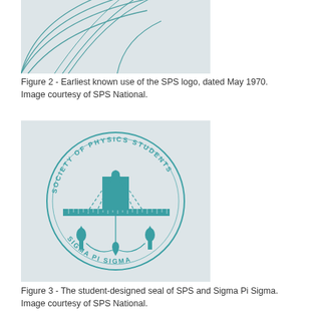[Figure (illustration): Top portion of the SPS logo showing concentric arc lines on a light grey background, representing the earliest known use of the SPS logo dated May 1970.]
Figure 2 - Earliest known use of the SPS logo, dated May 1970. Image courtesy of SPS National.
[Figure (illustration): A circular seal design in teal/cyan color for the Society of Physics Students and Sigma Pi Sigma. The seal features a plumb bob on a ruler (measuring instrument) with dashed triangular lines above, flanked by two torch-like figures at the bottom sides. Text around the circle reads 'SOCIETY OF PHYSICS STUDENTS' at the top and 'SIGMA PI SIGMA' at the bottom.]
Figure 3 - The student-designed seal of SPS and Sigma Pi Sigma. Image courtesy of SPS National.